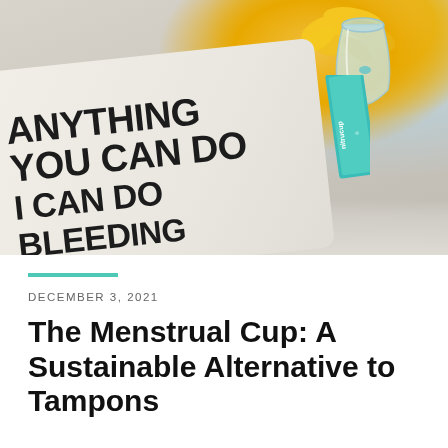[Figure (photo): Photo of a white cloth bag with bold text reading 'ANYTHING YOU CAN DO I CAN DO BLEEDING', alongside a clear menstrual cup and a teal/turquoise product box labeled 'nitrucup', with yellow flowers in the background on a soft textured surface.]
DECEMBER 3, 2021
The Menstrual Cup: A Sustainable Alternative to Tampons